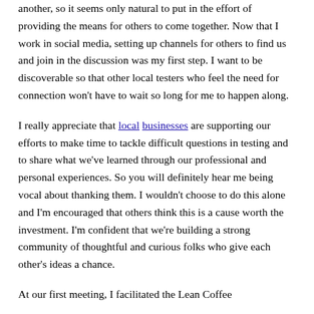another, so it seems only natural to put in the effort of providing the means for others to come together. Now that I work in social media, setting up channels for others to find us and join in the discussion was my first step. I want to be discoverable so that other local testers who feel the need for connection won't have to wait so long for me to happen along.
I really appreciate that local businesses are supporting our efforts to make time to tackle difficult questions in testing and to share what we've learned through our professional and personal experiences. So you will definitely hear me being vocal about thanking them. I wouldn't choose to do this alone and I'm encouraged that others think this is a cause worth the investment. I'm confident that we're building a strong community of thoughtful and curious folks who give each other's ideas a chance.
At our first meeting, I facilitated the Lean Coffee